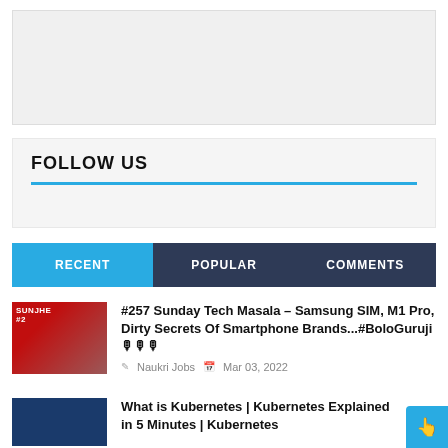[Figure (other): Advertisement placeholder box with light gray background]
FOLLOW US
RECENT | POPULAR | COMMENTS
[Figure (photo): Thumbnail image for Sunday Tech Masala article showing a person in front of a display]
#257 Sunday Tech Masala – Samsung SIM, M1 Pro, Dirty Secrets Of Smartphone Brands...#BoloGuruji🎙🎙🎙
Naukri Jobs   Mar 03, 2022
[Figure (photo): Thumbnail image for Kubernetes article with blue background]
What is Kubernetes | Kubernetes Explained in 5 Minutes | Kubernetes